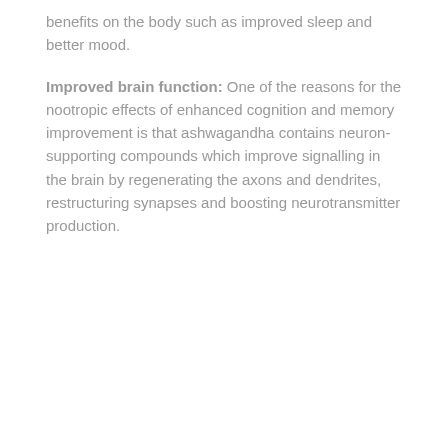benefits on the body such as improved sleep and better mood.
Improved brain function: One of the reasons for the nootropic effects of enhanced cognition and memory improvement is that ashwagandha contains neuron-supporting compounds which improve signalling in the brain by regenerating the axons and dendrites, restructuring synapses and boosting neurotransmitter production.